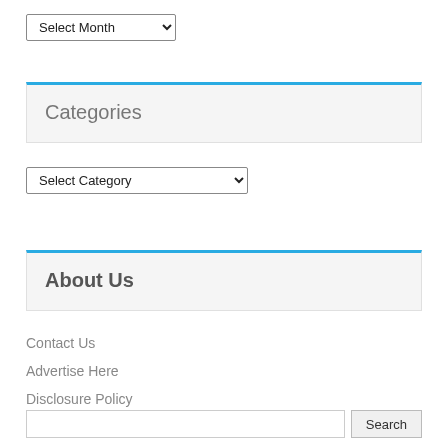Select Month
Categories
Select Category
About Us
Contact Us
Advertise Here
Disclosure Policy
Sitemap
Search